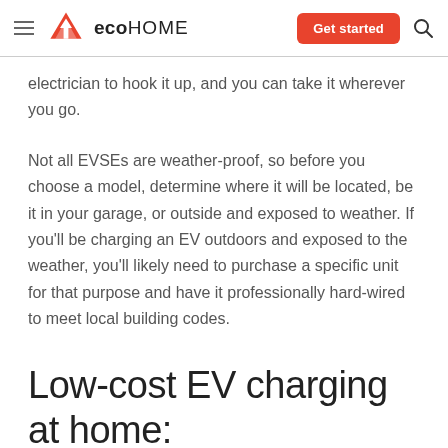eco HOME — Get started
electrician to hook it up, and you can take it wherever you go.
Not all EVSEs are weather-proof, so before you choose a model, determine where it will be located, be it in your garage, or outside and exposed to weather. If you'll be charging an EV outdoors and exposed to the weather, you'll likely need to purchase a specific unit for that purpose and have it professionally hard-wired to meet local building codes.
Low-cost EV charging at home: